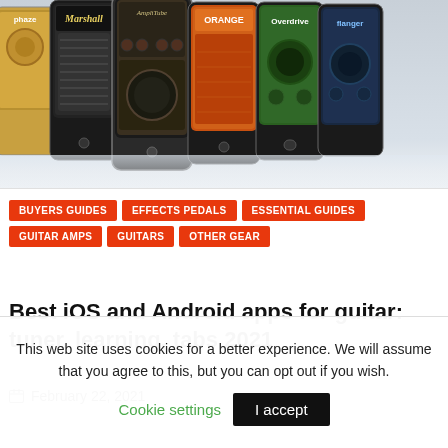[Figure (photo): Multiple smartphones displaying guitar effect pedal apps (Marshall, AmpliTube, Orange, phaser, overdrive, flanger, etc.) arranged in a row with reflections on a light surface.]
BUYERS GUIDES
EFFECTS PEDALS
ESSENTIAL GUIDES
GUITAR AMPS
GUITARS
OTHER GEAR
Best iOS and Android apps for guitar: tuner, learning, tabs 2021
February 22, 2021
This web site uses cookies for a better experience. We will assume that you agree to this, but you can opt out if you wish.